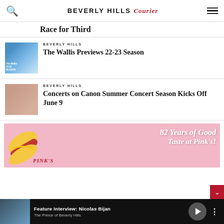BEVERLY HILLS Courier
Race for Third
BEVERLY HILLS
The Wallis Previews 22-23 Season
BEVERLY HILLS
Concerts on Canon Summer Concert Season Kicks Off June 9
[Figure (photo): Pink's Hot Dogs advertisement banner - 82 Years of Good Taste at Pink's]
Feature Interview: Nicolas Bijan
The Prince of Beverly Hills